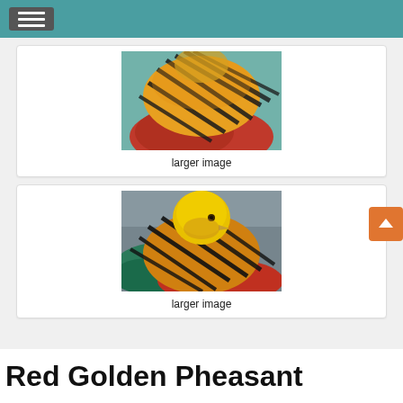[Figure (photo): Photo of a Golden Pheasant showing red body with orange and black striped feathers on its back]
larger image
[Figure (photo): Photo of a Golden Pheasant with yellow head and orange/black striped feathers, green and red body]
larger image
Red Golden Pheasant